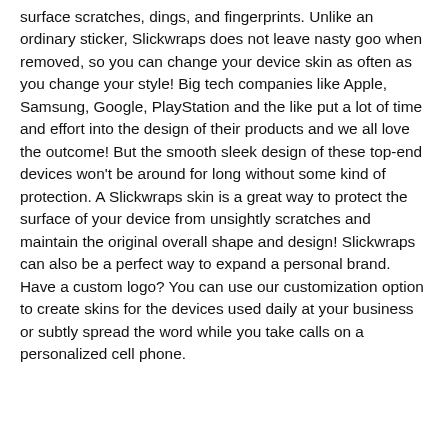surface scratches, dings, and fingerprints. Unlike an ordinary sticker, Slickwraps does not leave nasty goo when removed, so you can change your device skin as often as you change your style! Big tech companies like Apple, Samsung, Google, PlayStation and the like put a lot of time and effort into the design of their products and we all love the outcome! But the smooth sleek design of these top-end devices won't be around for long without some kind of protection. A Slickwraps skin is a great way to protect the surface of your device from unsightly scratches and maintain the original overall shape and design! Slickwraps can also be a perfect way to expand a personal brand. Have a custom logo? You can use our customization option to create skins for the devices used daily at your business or subtly spread the word while you take calls on a personalized cell phone.
[Figure (screenshot): MacBook Pro with dark wood grain / charred robot skin, shown as product thumbnail]
MacBook Pro 13 Touchbar (2016) Limited Series Skins
CharredRobot
- 1 +
ADD TO CART